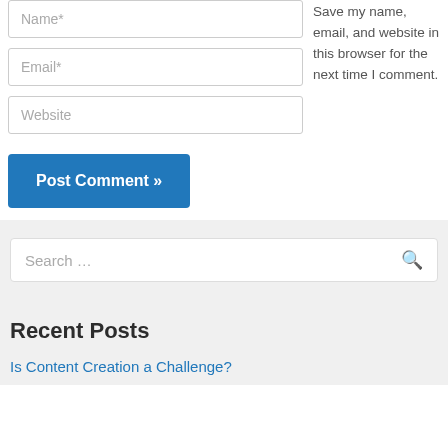Name*
Email*
Website
Save my name, email, and website in this browser for the next time I comment.
Post Comment »
Search …
Recent Posts
Is Content Creation a Challenge?